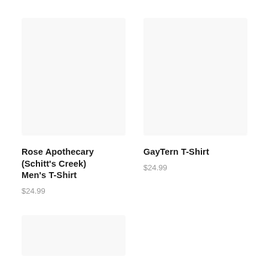[Figure (photo): Product image placeholder for Rose Apothecary (Schitt's Creek) Men's T-Shirt, light gray background]
Rose Apothecary (Schitt's Creek) Men's T-Shirt
$24.99
[Figure (photo): Product image placeholder for GayTern T-Shirt, light gray background]
GayTern T-Shirt
$24.99
[Figure (photo): Bottom partial product image placeholder, light gray background]